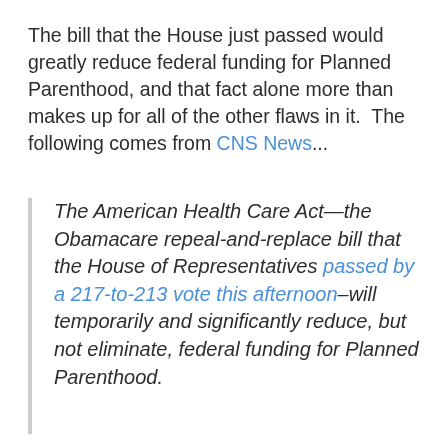The bill that the House just passed would greatly reduce federal funding for Planned Parenthood, and that fact alone more than makes up for all of the other flaws in it.  The following comes from CNS News...
The American Health Care Act—the Obamacare repeal-and-replace bill that the House of Representatives passed by a 217-to-213 vote this afternoon–will temporarily and significantly reduce, but not eliminate, federal funding for Planned Parenthood.